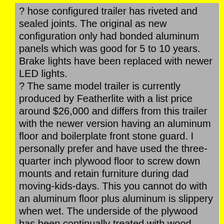? hose configured trailer has riveted and sealed joints. The original as new configuration only had bonded aluminum panels which was good for 5 to 10 years. Brake lights have been replaced with newer LED lights.
? The same model trailer is currently produced by Featherlite with a list price around $26,000 and differs from this trailer with the newer version having an aluminum floor and boilerplate front stone guard. I personally prefer and have used the three-quarter inch plywood floor to screw down mounts and retain furniture during dad moving-kids-days. This you cannot do with an aluminum floor plus aluminum is slippery when wet. The underside of the plywood has been continually treated with wood sealer and there is no rot.
? The tires are fairly new with manufacturing dates of 0316, 0316, 3120 and 4120. The trailer comes with a spare tire.
? It comes with trailer coupler locks and a torsion bar weight distribution hitch.
? The side door and screen has both latch lock and